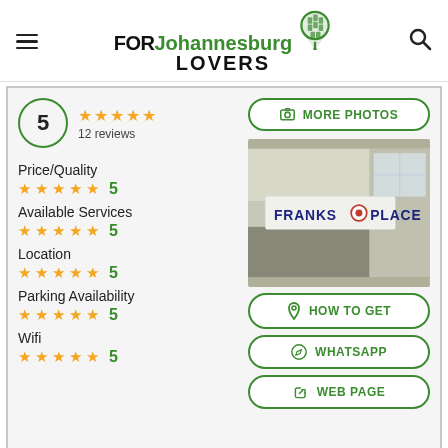FOR Johannesburg LOVERS
[Figure (logo): FORJohannesburg LOVERS logo with green map pin icon]
5 ★★★★★ 12 reviews
Price/Quality ★★★★★ 5
Available Services ★★★★★ 5
Location ★★★★★ 5
Parking Availability ★★★★★ 5
Wifi ★★★★★ 5
[Figure (photo): Photo of Franks Place store entrance sign]
📷 MORE PHOTOS
📍 HOW TO GET
💬 WHATSAPP
🔗 WEB PAGE